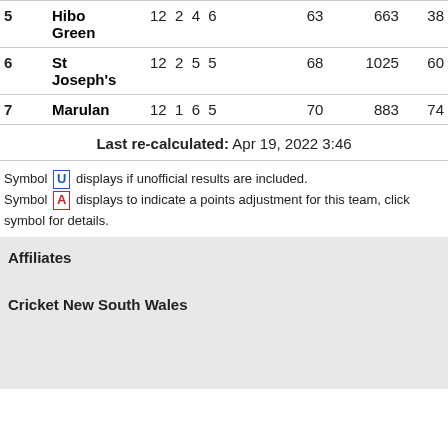| # | Team | P | W | L | D | F | A | Pts |
| --- | --- | --- | --- | --- | --- | --- | --- | --- |
| 5 | Hibo Green | 12 | 2 | 4 | 6 | 63 | 663 | 38 |
| 6 | St Joseph's | 12 | 2 | 5 | 5 | 68 | 1025 | 60 |
| 7 | Marulan | 12 | 1 | 6 | 5 | 70 | 883 | 74 |
Last re-calculated: Apr 19, 2022 3:46
Symbol U displays if unofficial results are included. Symbol A displays to indicate a points adjustment for this team, click symbol for details.
Affiliates
Cricket New South Wales